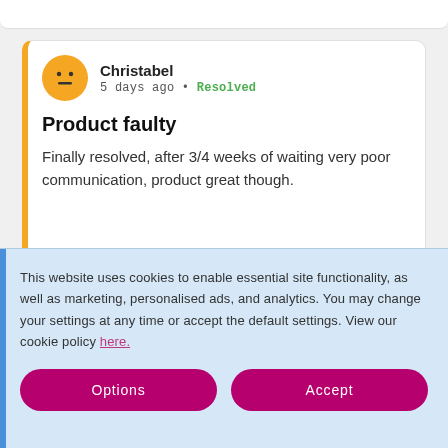Christabel — 5 days ago • Resolved — Product faulty — Finally resolved, after 3/4 weeks of waiting very poor communication, product great though.
Richard — about 1 month ago • Resolved
This website uses cookies to enable essential site functionality, as well as marketing, personalised ads, and analytics. You may change your settings at any time or accept the default settings. View our cookie policy here.